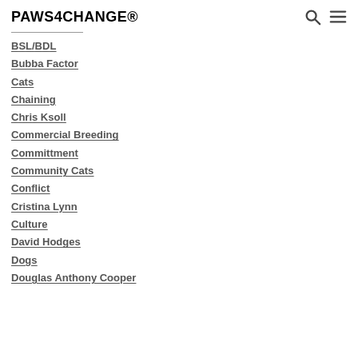PAWS4CHANGE®
BSL/BDL
Bubba Factor
Cats
Chaining
Chris Ksoll
Commercial Breeding
Committment
Community Cats
Conflict
Cristina Lynn
Culture
David Hodges
Dogs
Douglas Anthony Cooper